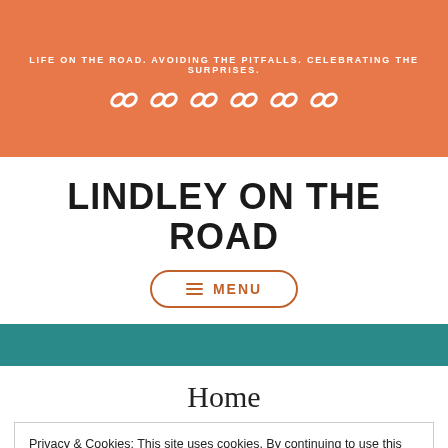LIFE ON THE ROAD. AVOIDING THE PITFALLS. CELEBRATING THE SURPRISES.
LINDLEY ON THE ROAD
MENU
Home
Privacy & Cookies: This site uses cookies. By continuing to use this website, you agree to their use. To find out more, including how to control cookies, see here: Cookie Policy
Close and accept